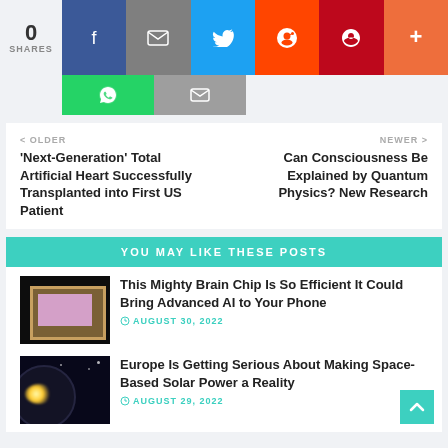[Figure (infographic): Social share bar with count 0 SHARES and buttons: Facebook (blue), Email (gray), Twitter (light blue), Reddit (orange-red), Pinterest (red), Plus (orange)]
[Figure (infographic): Second row of share buttons: WhatsApp (green), Email (gray)]
< OLDER
‘Next-Generation’ Total Artificial Heart Successfully Transplanted into First US Patient
NEWER >
Can Consciousness Be Explained by Quantum Physics? New Research
YOU MAY LIKE THESE POSTS
[Figure (photo): Close-up photo of a computer brain chip on dark background]
This Mighty Brain Chip Is So Efficient It Could Bring Advanced AI to Your Phone
AUGUST 30, 2022
[Figure (photo): Space image showing a planet or moon with a bright light/sun glow]
Europe Is Getting Serious About Making Space-Based Solar Power a Reality
AUGUST 29, 2022